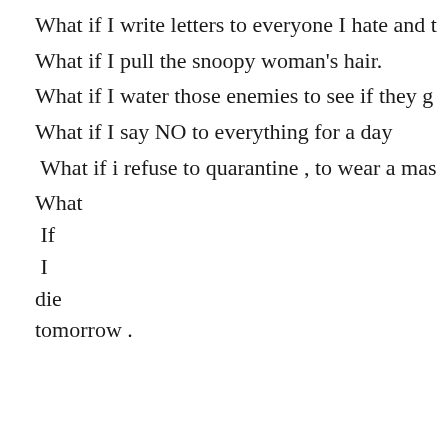What if I write letters to everyone I hate and t
What if I pull the snoopy woman's hair.
What if I water those enemies to see if they g
What if I say NO to everything for a day
What if i refuse to quarantine , to wear a mas
What
If
I
die
tomorrow .